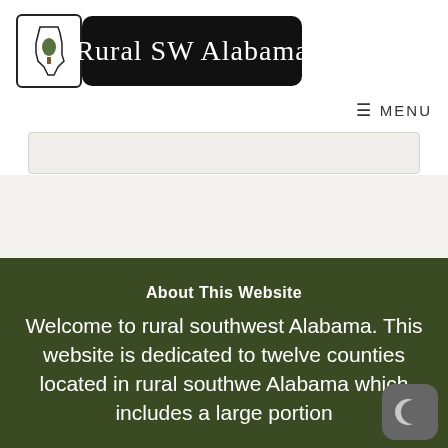[Figure (logo): Rural SW Alabama website logo: Alabama state outline icon on white with black border, next to a black rounded rectangle with script text 'Rural SW Alabama' in white]
≡ MENU
[Figure (screenshot): Search bar / input field with light beige background]
About This Website
Welcome to rural southwest Alabama. This website is dedicated to twelve counties located in rural southwest Alabama which includes a large portion